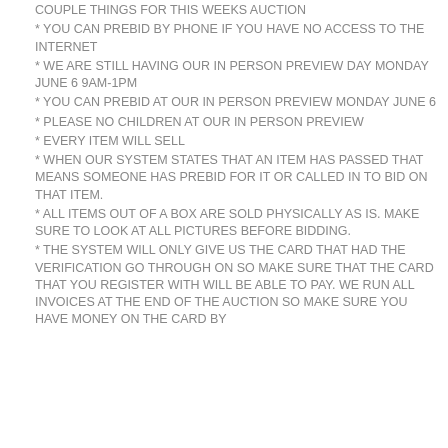COUPLE THINGS FOR THIS WEEKS AUCTION
* YOU CAN PREBID BY PHONE IF YOU HAVE NO ACCESS TO THE INTERNET
* WE ARE STILL HAVING OUR IN PERSON PREVIEW DAY MONDAY JUNE 6 9AM-1PM
* YOU CAN PREBID AT OUR IN PERSON PREVIEW MONDAY JUNE 6
* PLEASE NO CHILDREN AT OUR IN PERSON PREVIEW
* EVERY ITEM WILL SELL
* WHEN OUR SYSTEM STATES THAT AN ITEM HAS PASSED THAT MEANS SOMEONE HAS PREBID FOR IT OR CALLED IN TO BID ON THAT ITEM.
* ALL ITEMS OUT OF A BOX ARE SOLD PHYSICALLY AS IS. MAKE SURE TO LOOK AT ALL PICTURES BEFORE BIDDING.
* THE SYSTEM WILL ONLY GIVE US THE CARD THAT HAD THE VERIFICATION GO THROUGH ON SO MAKE SURE THAT THE CARD THAT YOU REGISTER WITH WILL BE ABLE TO PAY. WE RUN ALL INVOICES AT THE END OF THE AUCTION SO MAKE SURE YOU HAVE MONEY ON THE CARD BY